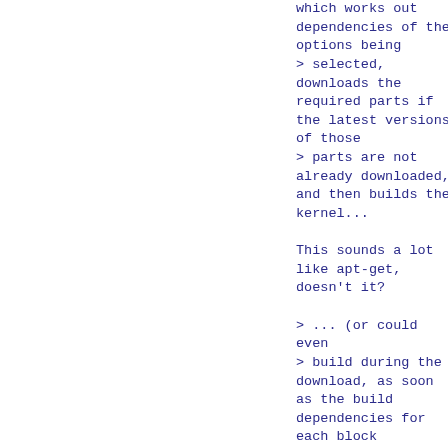which works out
dependencies of the
options being
> selected,
downloads the
required parts if
the latest versions
of those
> parts are not
already downloaded,
and then builds the
kernel...

This sounds a lot
like apt-get,
doesn't it?

> ... (or could
even
> build during the
download, as soon
as the build
dependencies for
each block
> of the kernel are
satisfied, if you
want to be
fancy...).

This is fancier